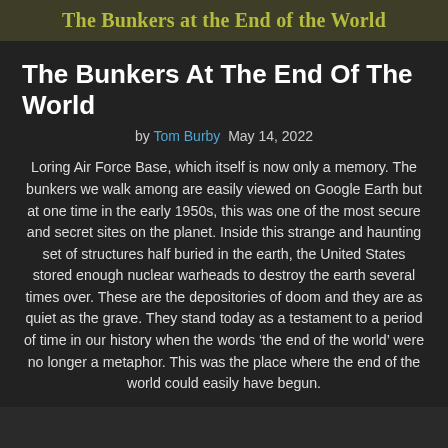The Bunkers at the End of the World
The Bunkers At The End Of The World
by Tom Burby  May 14, 2022
Loring Air Force Base, which itself is now only a memory. The bunkers we walk among are easily viewed on Google Earth but at one time in the early 1950s, this was one of the most secure and secret sites on the planet. Inside this strange and haunting set of structures half buried in the earth, the United States stored enough nuclear warheads to destroy the earth several times over. These are the depositories of doom and they are as quiet as the grave. They stand today as a testament to a period of time in our history when the words ‘the end of the world’ were no longer a metaphor. This was the place where the end of the world could easily have begun.